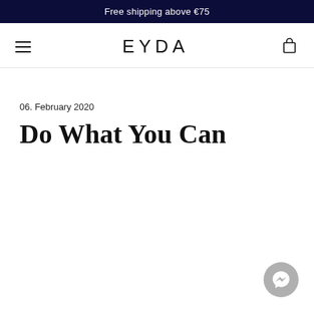Free shipping above €75
EYDA
06. February 2020
Do What You Can